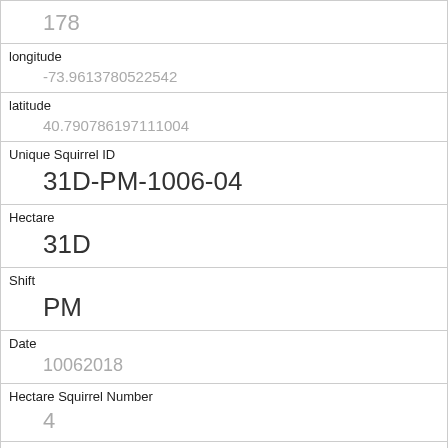| Field | Value |
| --- | --- |
|  | 178 |
| longitude | -73.9613780522542 |
| latitude | 40.790786197111004 |
| Unique Squirrel ID | 31D-PM-1006-04 |
| Hectare | 31D |
| Shift | PM |
| Date | 10062018 |
| Hectare Squirrel Number | 4 |
| Age | Adult |
| Primary Fur Color | Gray |
| Highlight Fur Color |  |